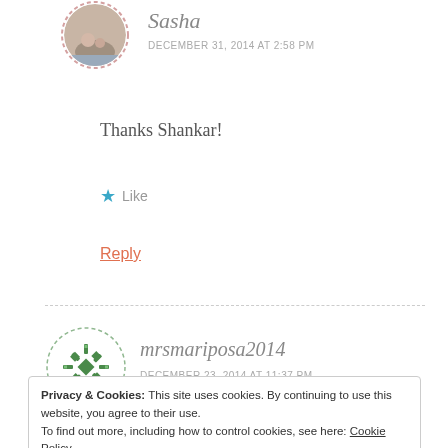[Figure (photo): Circular avatar photo of Sasha with dashed pink border, showing a woman with children on a beach]
Sasha
DECEMBER 31, 2014 AT 2:58 PM
Thanks Shankar!
★ Like
Reply
[Figure (logo): Circular avatar with green geometric snowflake/diamond pattern and dashed green border for mrsmariposa2014]
mrsmariposa2014
DECEMBER 23, 2014 AT 11:37 PM
Privacy & Cookies: This site uses cookies. By continuing to use this website, you agree to their use.
To find out more, including how to control cookies, see here: Cookie Policy
Close and accept